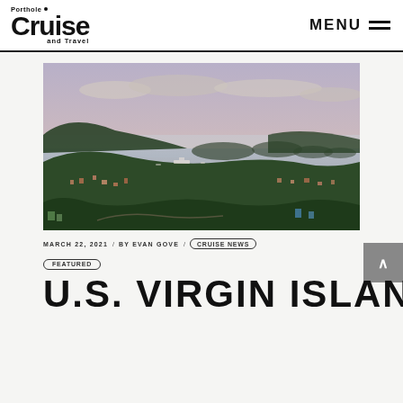Porthole Cruise and Travel — MENU
[Figure (photo): Aerial panoramic view of a Caribbean island harbor at dusk, showing a town nestled in lush green hills, calm turquoise-grey water with small islands in the distance, and colorful buildings along the waterfront under a purple-pink sky.]
MARCH 22, 2021 / BY EVAN GOVE / CRUISE NEWS
FEATURED
U.S. VIRGIN ISLANDS